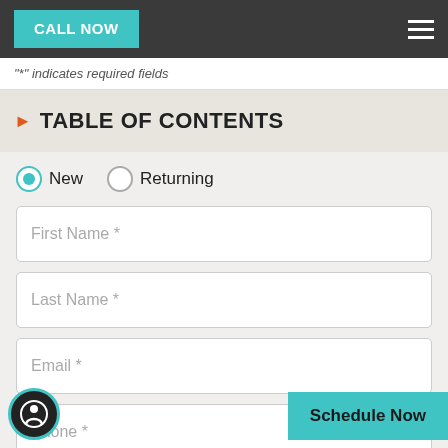CALL NOW
"*" indicates required fields
TABLE OF CONTENTS
New   Returning
First Name *
Last Name *
Email *
Phone *
Schedule Now